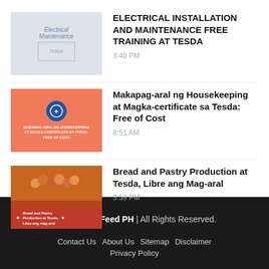[Figure (photo): Thumbnail image of electrical installation and maintenance certificate document, light gray/blue tones]
ELECTRICAL INSTALLATION AND MAINTENANCE FREE TRAINING AT TESDA
3:40 PM
[Figure (photo): Thumbnail with salmon/orange background, TESDA logo icon, text: MAKAPAG-ARAL NG HOUSEKEEPING AT MAGKA-CERTIFICATE SA TESDA: FREE OF COST]
Makapag-aral ng Housekeeping at Magka-certificate sa Tesda: Free of Cost
8:51 AM
[Figure (photo): Thumbnail with bread and pastry image on top, red banner with text: Bread and Pastry Production at Tesda, Libre ang mag-aral]
Bread and Pastry Production at Tesda, Libre ang Mag-aral
3:59 PM
2020 | NewsFeed PH | All Rights Reserved. Contact Us  About Us  Sitemap  Disclaimer  Privacy Policy